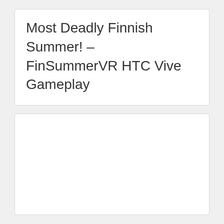Most Deadly Finnish Summer! – FinSummerVR HTC Vive Gameplay
[Figure (other): Empty white content box, likely a placeholder for an embedded video player]